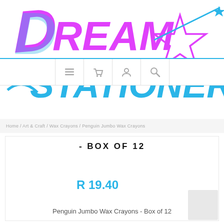[Figure (logo): Dream Stationery logo — 'Dream' in large pink/magenta brush script with a blue shooting star and star outline, 'Stationery' in large blue brush script below]
[Figure (infographic): Navigation bar with icons: hamburger menu, shopping basket, user account, search]
- BOX OF 12
R 19.40
Penguin Jumbo Wax Crayons - Box of 12